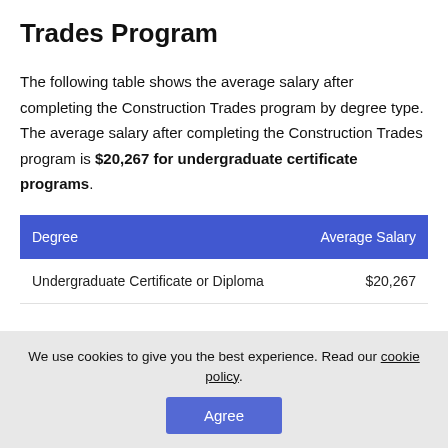Trades Program
The following table shows the average salary after completing the Construction Trades program by degree type. The average salary after completing the Construction Trades program is $20,267 for undergraduate certificate programs.
| Degree | Average Salary |
| --- | --- |
| Undergraduate Certificate or Diploma | $20,267 |
We use cookies to give you the best experience. Read our cookie policy.